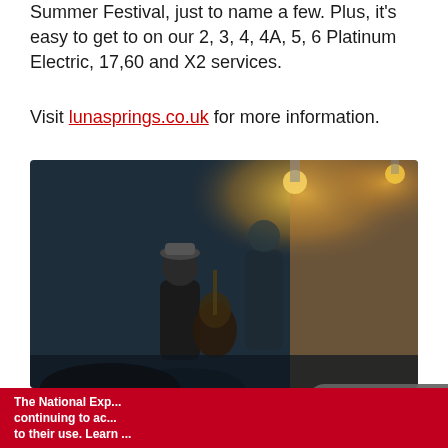Summer Festival, just to name a few. Plus, it's easy to get to on our 2, 3, 4, 4A, 5, 6 Platinum Electric, 17,60 and X2 services.
Visit lunasprings.co.uk for more information.
[Figure (photo): Photo of musicians performing, with warm ambient lighting. Two musicians visible, one playing guitar, in a dark venue setting.]
Email sign up
Subscribe for service updates, offers, travel inspiration and much more
The National Exp... continuing to ac... to their use. Learn ...